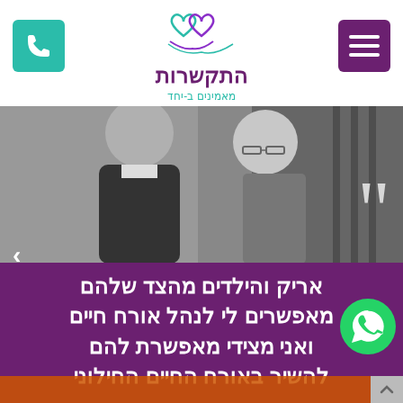[Figure (logo): Two interlinked heart shapes logo in teal/purple, with Hebrew text 'התקשרות' and subtitle 'מאמינים ב-יחד']
[Figure (photo): Black and white photo of a man and woman couple posing together]
אריק והילדים מהצד שלהם מאפשרים לי לנהל אורח חיים ואני מצידי מאפשרת להם להשיר באורח החיים החילוני